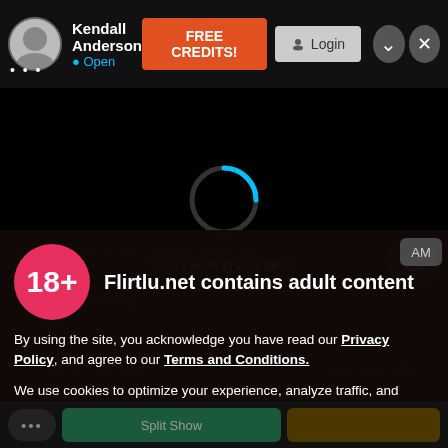Kendall Anderson • Open | FREE CREDITS! | Login
[Figure (screenshot): Black video area with loading spinner (circular arc in blue/dark) and text 'Connecting to Video']
Enable Audio
Connecting to Video
Flirtlu.net contains adult content
By using the site, you acknowledge you have read our Privacy Policy, and agree to our Terms and Conditions.
We use cookies to optimize your experience, analyze traffic, and deliver more personalized service. To learn more, please see our Privacy Policy.
I AGREE